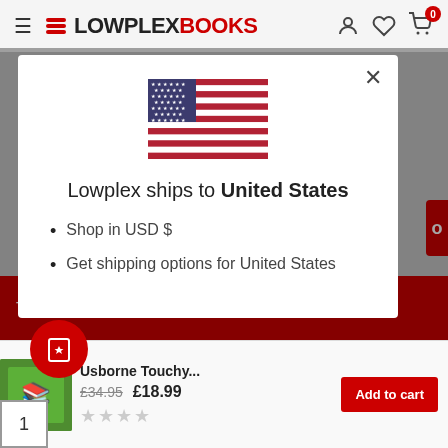LOWPLEXBOOKS (with hamburger menu, user, heart, cart icons showing 0)
[Figure (screenshot): Modal dialog showing US flag with text 'Lowplex ships to United States', bullet points: Shop in USD $, Get shipping options for United States]
Lowplex ships to United States
Shop in USD $
Get shipping options for United States
This website uses cookies to ensure you get the best
Usborne Touchy... £34.95 £18.99
Add to cart
1